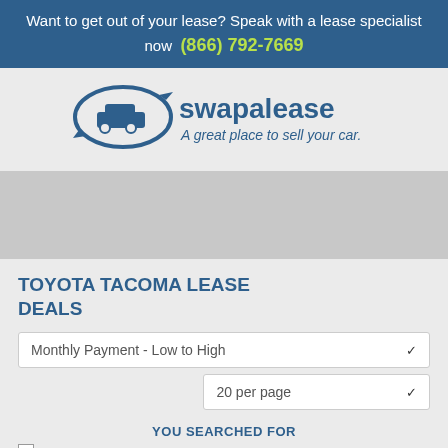Want to get out of your lease? Speak with a lease specialist now (866) 792-7669
[Figure (logo): Swapalease logo with car graphic and tagline 'A great place to sell your car.']
[Figure (other): Gray advertisement placeholder area]
TOYOTA TACOMA LEASE DEALS
Monthly Payment - Low to High
20 per page
YOU SEARCHED FOR
Toyota